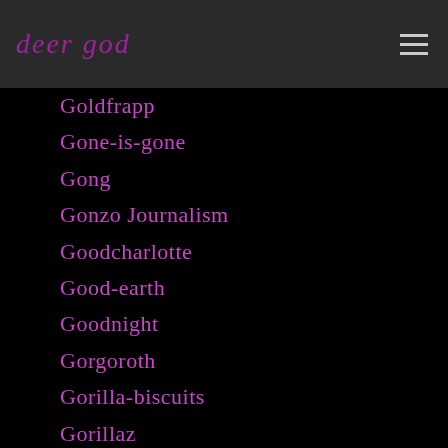deer god
Goldfrapp
Gone-is-gone
Gong
Gonzo Journalism
Goodcharlotte
Good-earth
Goodnight
Gorgoroth
Gorilla-biscuits
Gorillaz
Gospel
Gospel-music
Goteam
Goth
Goth Rock
Governmentissue
Government Issue